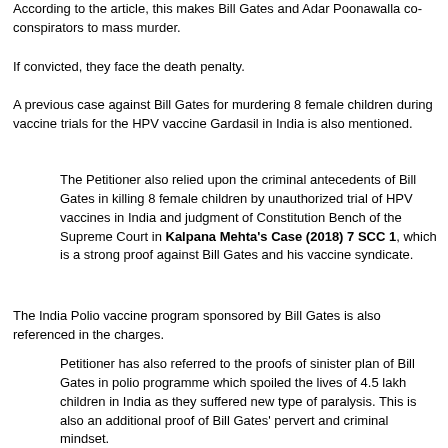According to the article, this makes Bill Gates and Adar Poonawalla co-conspirators to mass murder.
If convicted, they face the death penalty.
A previous case against Bill Gates for murdering 8 female children during vaccine trials for the HPV vaccine Gardasil in India is also mentioned.
The Petitioner also relied upon the criminal antecedents of Bill Gates in killing 8 female children by unauthorized trial of HPV vaccines in India and judgment of Constitution Bench of the Supreme Court in Kalpana Mehta's Case (2018) 7 SCC 1, which is a strong proof against Bill Gates and his vaccine syndicate.
The India Polio vaccine program sponsored by Bill Gates is also referenced in the charges.
Petitioner has also referred to the proofs of sinister plan of Bill Gates in polio programme which spoiled the lives of 4.5 lakh children in India as they suffered new type of paralysis. This is also an additional proof of Bill Gates' pervert and criminal mindset.